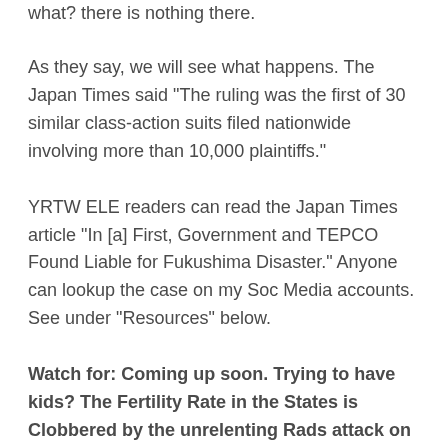what? there is nothing there.
As they say, we will see what happens. The Japan Times said “The ruling was the first of 30 similar class-action suits filed nationwide involving more than 10,000 plaintiffs.”
YRTW ELE readers can read the Japan Times article “In [a] First, Government and TEPCO Found Liable for Fukushima Disaster.” Anyone can lookup the case on my Soc Media accounts. See under “Resources” below.
Watch for: Coming up soon. Trying to have kids? The Fertility Rate in the States is Clobbered by the unrelenting Rads attack on Sperm and Eggs, not to mention Zygotes and Fetuses.
The amount of Rad in the air now Dooms Humanity to a